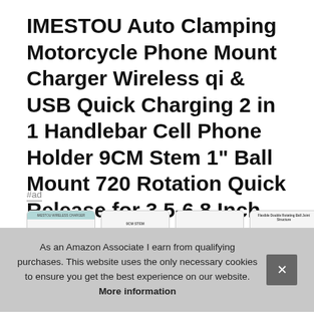IMESTOU Auto Clamping Motorcycle Phone Mount Charger Wireless qi & USB Quick Charging 2 in 1 Handlebar Cell Phone Holder 9CM Stem 1" Ball Mount 720 Rotation Quick Release for 3.5-6.8 Inch Smartphone
#ad
[Figure (screenshot): Row of four product thumbnail images showing the motorcycle phone mount from different angles and with feature callouts.]
As an Amazon Associate I earn from qualifying purchases. This website uses the only necessary cookies to ensure you get the best experience on our website. More information
iMESTOU   100% firm & self locking & reliable! 720% rotation